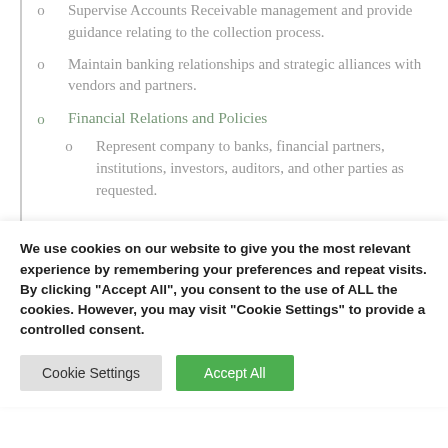Supervise Accounts Receivable management and provide guidance relating to the collection process.
Maintain banking relationships and strategic alliances with vendors and partners.
Financial Relations and Policies
Represent company to banks, financial partners, institutions, investors, auditors, and other parties as requested.
We use cookies on our website to give you the most relevant experience by remembering your preferences and repeat visits. By clicking "Accept All", you consent to the use of ALL the cookies. However, you may visit "Cookie Settings" to provide a controlled consent.